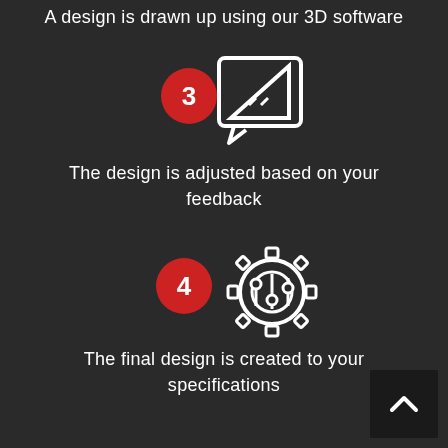A design is drawn up using our 3D software
[Figure (illustration): Step 3 icon: red circle with number 3, next to a drawing/design icon (triangle ruler in speech bubble outline)]
The design is adjusted based on your feedback
[Figure (illustration): Step 4 icon: red circle with number 4, next to a settings/sliders icon with gear]
The final design is created to your specifications